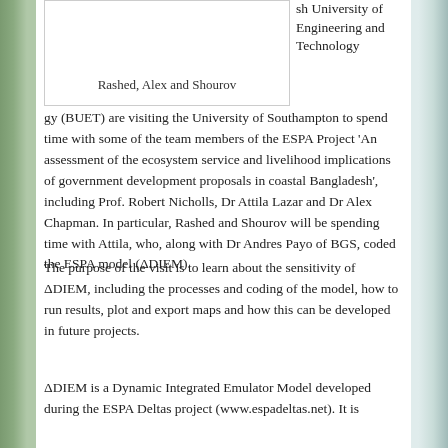| Rashed, Alex and Shourov |
sh University of Engineering and Technology (BUET) are visiting the University of Southampton to spend time with some of the team members of the ESPA Project 'An assessment of the ecosystem service and livelihood implications of government development proposals in coastal Bangladesh', including Prof. Robert Nicholls, Dr Attila Lazar and Dr Alex Chapman. In particular, Rashed and Shourov will be spending time with Attila, who, along with Dr Andres Payo of BGS, coded the ESPA model (ΔDIEM).
The purpose of the visit is to learn about the sensitivity of ΔDIEM, including the processes and coding of the model, how to run results, plot and export maps and how this can be developed in future projects.
ΔDIEM is a Dynamic Integrated Emulator Model developed during the ESPA Deltas project (www.espadeltas.net). It is